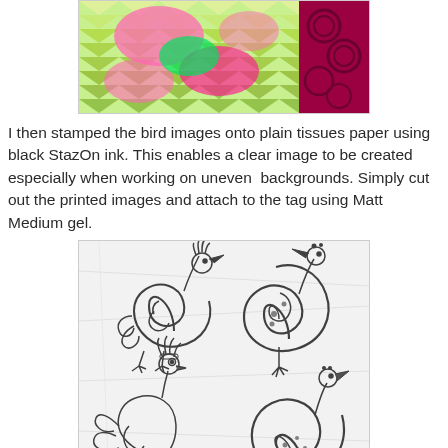[Figure (photo): Colorful fabric or paper with bright pink, green, yellow chevron patterns and dark swirling patterns on the right side]
I then stamped the bird images onto plain tissues paper using black StazOn ink. This enables a clear image to be created especially when working on uneven  backgrounds. Simply cut out the printed images and attach to the tag using Matt Medium gel.
[Figure (photo): Four decorative bird images stamped in black ink on plain tissue paper, showing stylized birds with swirling body patterns, placed on a white wrinkled tissue paper background]